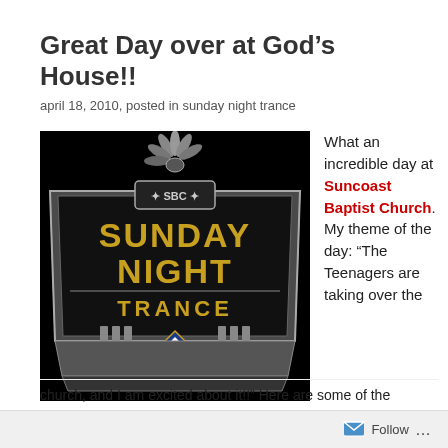Great Day over at God's House!!
april 18, 2010, posted in sunday night trance
[Figure (photo): SBC Sunday Night Trance logo — dark themed broadcast-style graphic with NBC peacock logo on top, 'SBC' badge, large gold text reading 'SUNDAY NIGHT TRANCE', and FTL (For the Lord) shield logo at bottom, on black background]
What an incredible day at Suncoast Baptist Church. My theme of the day: “The Teenagers are taking over the church, and I am excited about it!!” Here are some of the
Follow ...